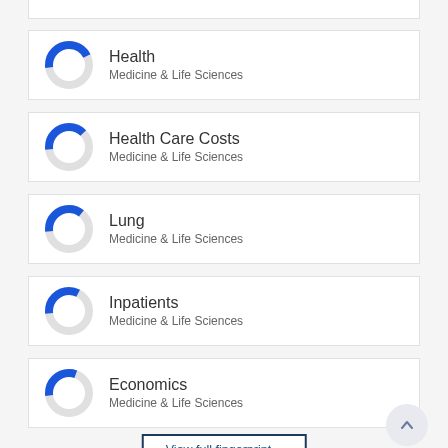[Figure (donut-chart): Donut chart showing approximately 45% fill in blue for Health, Medicine & Life Sciences]
Health
Medicine & Life Sciences
[Figure (donut-chart): Donut chart showing approximately 40% fill in blue for Health Care Costs, Medicine & Life Sciences]
Health Care Costs
Medicine & Life Sciences
[Figure (donut-chart): Donut chart showing approximately 38% fill in blue for Lung, Medicine & Life Sciences]
Lung
Medicine & Life Sciences
[Figure (donut-chart): Donut chart showing approximately 35% fill in blue for Inpatients, Medicine & Life Sciences]
Inpatients
Medicine & Life Sciences
[Figure (donut-chart): Donut chart showing approximately 33% fill in blue for Economics, Medicine & Life Sciences]
Economics
Medicine & Life Sciences
View full fingerprint >